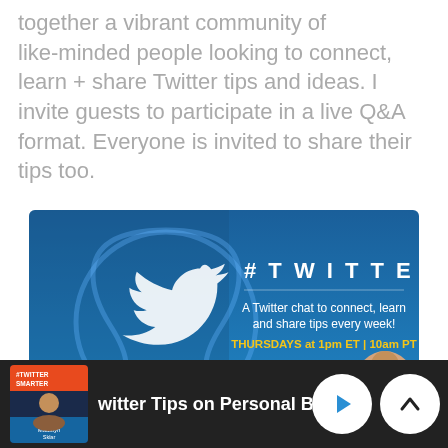together a vibrant community of like-minded people looking to connect, learn + share Twitter tips and ideas. I invite guests to participate in a live Q&A format. Everyone is invited to share their tips too.
[Figure (infographic): #TWITTERSMARTER banner: A Twitter chat to connect, learn and share tips every week! THURSDAYS at 1pm ET | 10am PT. Hosted by @MadalynSklar. Blue background with Twitter bird in a light bulb shape.]
[Figure (screenshot): Dark footer bar with #TwitterSmarter podcast thumbnail on left, text 'witter Tips on Personal Branding and' in white bold, play button circle and chevron-up button circle on right.]